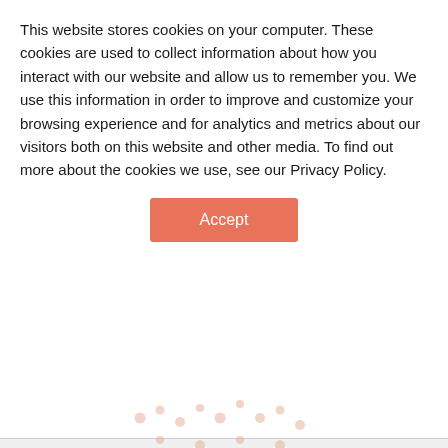This website stores cookies on your computer. These cookies are used to collect information about how you interact with our website and allow us to remember you. We use this information in order to improve and customize your browsing experience and for analytics and metrics about our visitors both on this website and other media. To find out more about the cookies we use, see our Privacy Policy.
Accept
— BLOG — CONTACT US — OF
Reception-Only Wedding
WEDDING ENTERTAINMENT
PRIVATE PARTIES
NEWS & ARTICLES · 9 MINUTE READ · 09/7/21 6:15 PM
CORPORATE EVENTS
EVENT VENUES